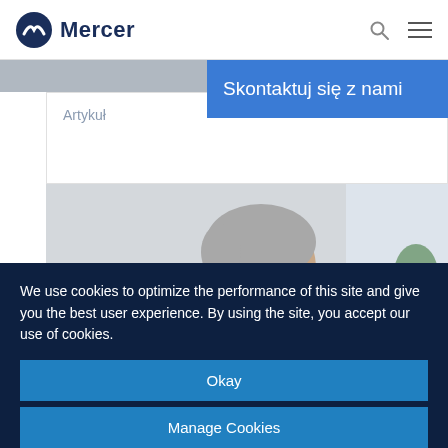Mercer
Skontaktuj się z nami
Artykuł
[Figure (photo): Elderly woman with gray hair and glasses drinking from a white mug]
We use cookies to optimize the performance of this site and give you the best user experience. By using the site, you accept our use of cookies.
Okay
Manage Cookies